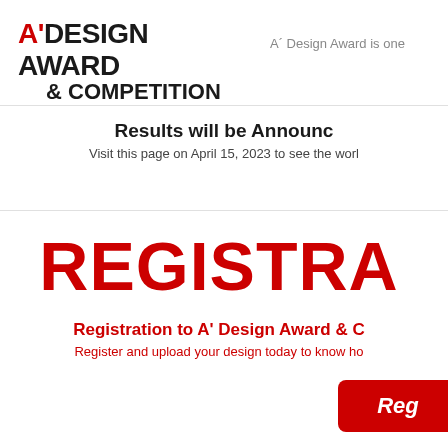A' DESIGN AWARD & COMPETITION
A´ Design Award is one
Results will be Announced
Visit this page on April 15, 2023 to see the world
REGISTRATION
Registration to A' Design Award & C
Register and upload your design today to know how
Register